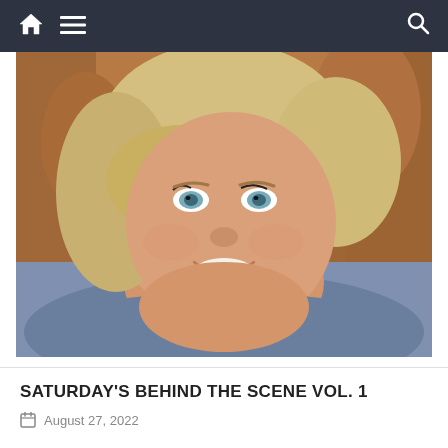Navigation bar with home, menu, and search icons
[Figure (photo): A smiling middle-aged woman with short blonde hair and blue eyes, wearing a grey sleeveless top and gold necklaces, taking a selfie in a car with brown leather seats]
SATURDAY'S BEHIND THE SCENE VOL. 1
August 27, 2022